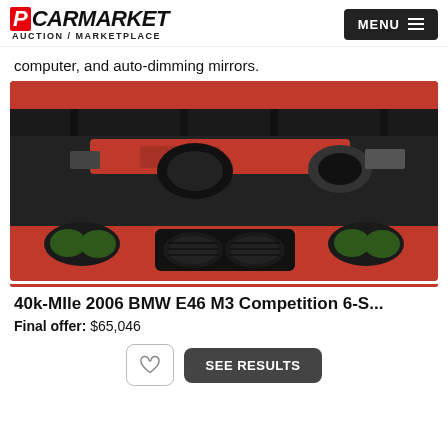PCARMARKET AUCTION / MARKETPLACE
computer, and auto-dimming mirrors.
[Figure (photo): Engine bay of a red BMW E46 M3 with hood open, showing red-painted engine components and black intake, front grilles visible at bottom]
40k-MIle 2006 BMW E46 M3 Competition 6-S...
Final offer: $65,046
SEE RESULTS